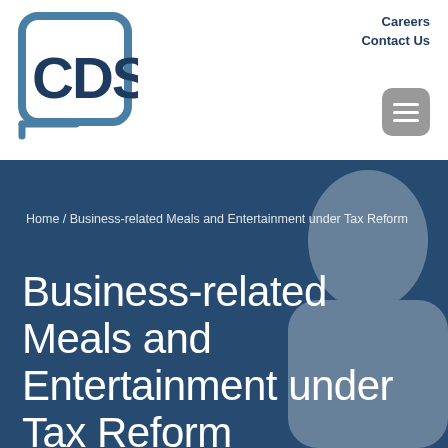[Figure (logo): CDS company logo — rounded square outline with 'CDS' text inside in dark blue]
Careers
Contact Us
[Figure (other): Hamburger menu button (grey rounded square with three white horizontal lines)]
Home / Business-related Meals and Entertainment under Tax Reform
Business-related Meals and Entertainment under Tax Reform